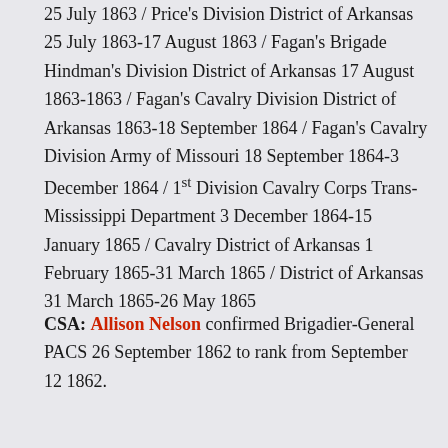25 July 1863 / Price's Division District of Arkansas 25 July 1863-17 August 1863 / Fagan's Brigade Hindman's Division District of Arkansas 17 August 1863-1863 / Fagan's Cavalry Division District of Arkansas 1863-18 September 1864 / Fagan's Cavalry Division Army of Missouri 18 September 1864-3 December 1864 / 1st Division Cavalry Corps Trans-Mississippi Department 3 December 1864-15 January 1865 / Cavalry District of Arkansas 1 February 1865-31 March 1865 / District of Arkansas 31 March 1865-26 May 1865
CSA: Allison Nelson confirmed Brigadier-General PACS 26 September 1862 to rank from September 12 1862.